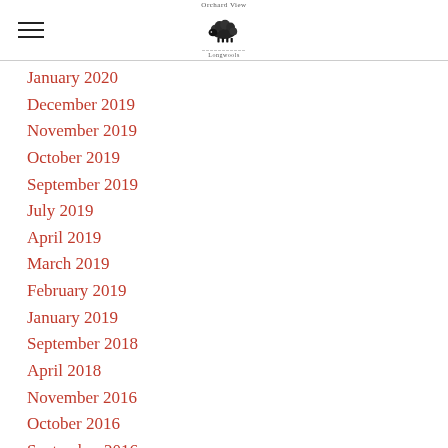Orchard View — logo with sheep illustration
January 2020
December 2019
November 2019
October 2019
September 2019
July 2019
April 2019
March 2019
February 2019
January 2019
September 2018
April 2018
November 2016
October 2016
September 2016
December 2015
November 2015